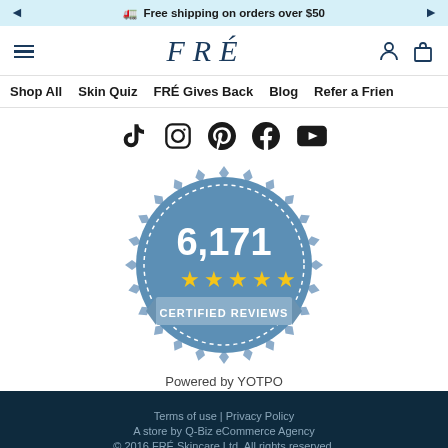Free shipping on orders over $50
[Figure (logo): FRÉ brand logo in dark blue serif italic letters]
Shop All | Skin Quiz | FRÉ Gives Back | Blog | Refer a Frien
[Figure (illustration): Social media icons: TikTok, Instagram, Pinterest, Facebook, YouTube]
[Figure (infographic): Blue certified reviews badge showing 6,171 five-star certified reviews powered by YOTPO]
Terms of use | Privacy Policy
A store by Q-Biz eCommerce Agency
© 2016 FRÉ Skincare Ltd. All rights reserved.